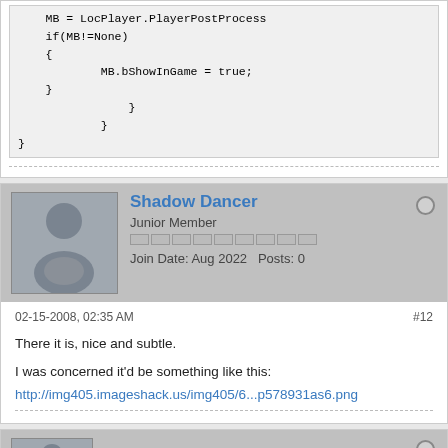MB = LocPlayer.PlayerPostProcess
if(MB!=None)
{
        MB.bShowInGame = true;
}
    }
}
Shadow Dancer
Junior Member
Join Date: Aug 2022  Posts: 0
02-15-2008, 02:35 AM
#12
There it is, nice and subtle.
I was concerned it'd be something like this:
http://img405.imageshack.us/img405/6...p578931as6.png
MonsOlympus